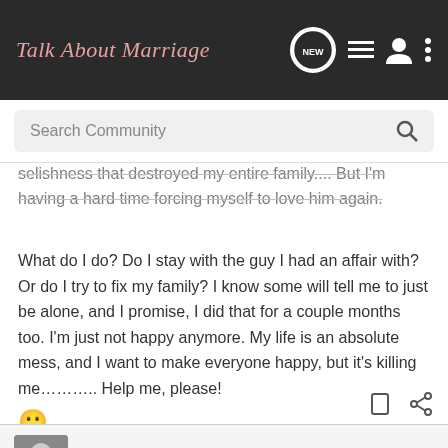Talk About Marriage
selishness that destroyed my entire family.... But I'm having a hard time forcing myself to love him again.
What do I do? Do I stay with the guy I had an affair with? Or do I try to fix my family? I know some will tell me to just be alone, and I promise, I did that for a couple months too. I'm just not happy anymore. My life is an absolute mess, and I want to make everyone happy, but it's killing me……….. Help me, please! 🙁
Machiavelli · Banned
Joined Feb 25, 2012 · 5,485 Posts